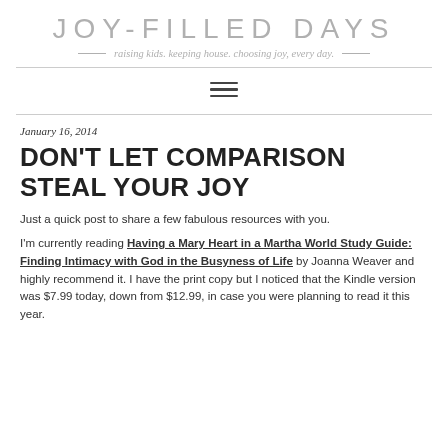JOY-FILLED DAYS
raising kids. keeping house. choosing joy, every day.
January 16, 2014
DON'T LET COMPARISON STEAL YOUR JOY
Just a quick post to share a few fabulous resources with you.
I'm currently reading Having a Mary Heart in a Martha World Study Guide: Finding Intimacy with God in the Busyness of Life by Joanna Weaver and highly recommend it. I have the print copy but I noticed that the Kindle version was $7.99 today, down from $12.99, in case you were planning to read it this year.